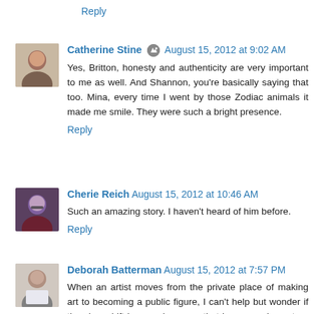Reply
Catherine Stine  August 15, 2012 at 9:02 AM
Yes, Britton, honesty and authenticity are very important to me as well. And Shannon, you're basically saying that too. Mina, every time I went by those Zodiac animals it made me smile. They were such a bright presence.
Reply
Cherie Reich  August 15, 2012 at 10:46 AM
Such an amazing story. I haven't heard of him before.
Reply
Deborah Batterman  August 15, 2012 at 7:57 PM
When an artist moves from the private place of making art to becoming a public figure, I can't help but wonder if there's a shift in consciousness that has some impact on an